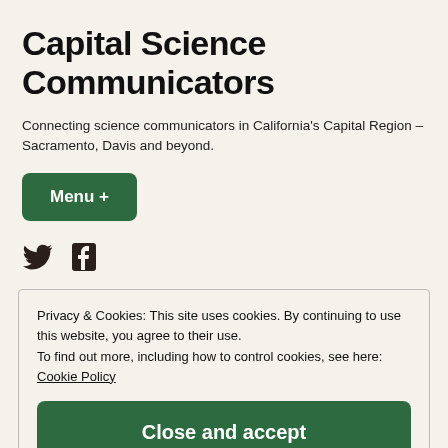Capital Science Communicators
Connecting science communicators in California's Capital Region – Sacramento, Davis and beyond.
Menu +
[Figure (other): Twitter and Facebook social media icons]
Privacy & Cookies: This site uses cookies. By continuing to use this website, you agree to their use. To find out more, including how to control cookies, see here: Cookie Policy
Close and accept